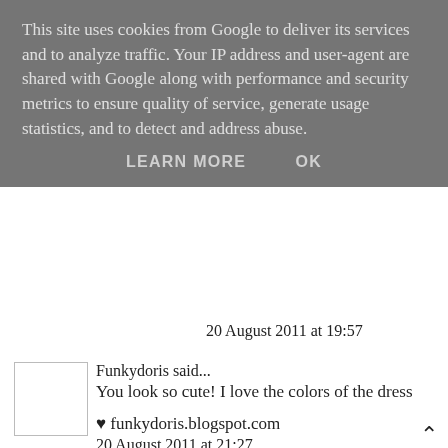This site uses cookies from Google to deliver its services and to analyze traffic. Your IP address and user-agent are shared with Google along with performance and security metrics to ensure quality of service, generate usage statistics, and to detect and address abuse.
LEARN MORE    OK
20 August 2011 at 19:57
Funkydoris said...
You look so cute! I love the colors of the dress
♥ funkydoris.blogspot.com
20 August 2011 at 21:27
Lolli Lewis said...
cute summer maxi, love the colours and stripes
Lollihearts.co.uk
21 August 2011 at 02:31
Rachel McCallion said...
Lovely outfit! The dress is very cute :)